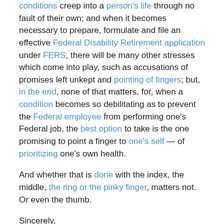conditions creep into a person's life through no fault of their own; and when it becomes necessary to prepare, formulate and file an effective Federal Disability Retirement application under FERS, there will be many other stresses which come into play, such as accusations of promises left unkept and pointing of fingers; but, in the end, none of that matters, for, when a condition becomes so debilitating as to prevent the Federal employee from performing one's Federal job, the best option to take is the one promising to point a finger to one's self — of prioritizing one's own health.
And whether that is done with the index, the middle, the ring or the pinky finger, matters not.  Or even the thumb.
Sincerely,
Robert R. McGill